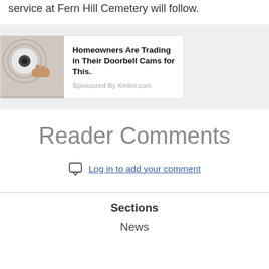service at Fern Hill Cemetery will follow.
[Figure (infographic): Advertisement banner showing a hand installing a circular security camera device on a wall, with text 'Homeowners Are Trading in Their Doorbell Cams for This.' and 'Sponsored By Keilini.com']
Reader Comments
Log in to add your comment
Sections
News